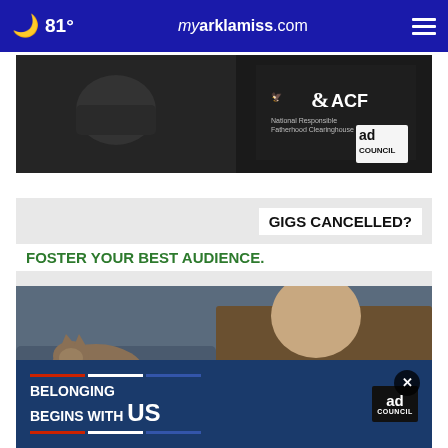81° myarklamiss.com
[Figure (advertisement): ACF and Ad Council banner advertisement with dark background showing musician imagery and logos]
[Figure (advertisement): Ad showing 'GIGS CANCELLED? FOSTER YOUR BEST AUDIENCE.' with man playing guitar and cat, #AdoptPureLove watermark, X close button]
[Figure (advertisement): Belonging Begins With US - Ad Council blue banner advertisement]